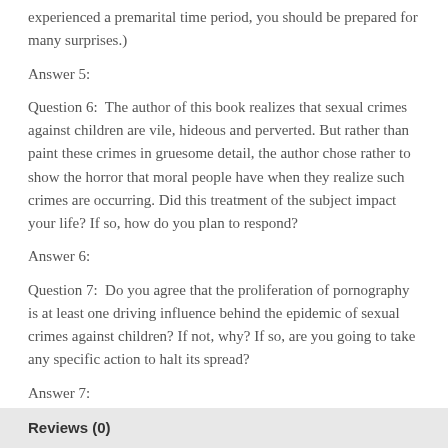experienced a premarital time period, you should be prepared for many surprises.)
Answer 5:
Question 6:  The author of this book realizes that sexual crimes against children are vile, hideous and perverted. But rather than paint these crimes in gruesome detail, the author chose rather to show the horror that moral people have when they realize such crimes are occurring. Did this treatment of the subject impact your life? If so, how do you plan to respond?
Answer 6:
Question 7:  Do you agree that the proliferation of pornography is at least one driving influence behind the epidemic of sexual crimes against children? If not, why? If so, are you going to take any specific action to halt its spread?
Answer 7:
Reviews (0)